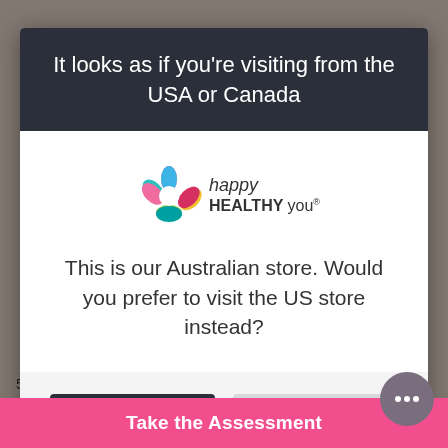It looks as if you're visiting from the USA or Canada
[Figure (logo): Happy Healthy You logo — a flower made of colorful petals (pink, yellow, green, teal, blue, red/pink) next to the text 'happy HEALTHY you' with a registered trademark symbol]
This is our Australian store. Would you prefer to visit the US store instead?
Yes
No
5-Minute Kale Salad
Grilled M
Take the Assessment